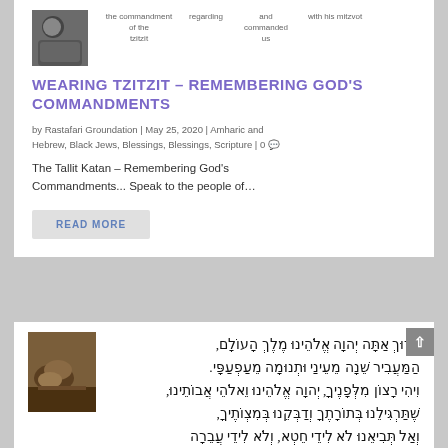[Figure (photo): Small thumbnail image at top left, dark toned portrait/figure]
the commandment of the tzitzit | regarding | and commanded us | with his mitzvot
WEARING TZITZIT – REMEMBERING GOD'S COMMANDMENTS
by Rastafari Groundation | May 25, 2020 | Amharic and Hebrew, Black Jews, Blessings, Blessings, Scripture | 0
The Tallit Katan – Remembering God's Commandments... Speak to the people of...
READ MORE
[Figure (photo): Dark painting of a figure in prayer or sleeping, resting head on arms]
בָּרוּךְ אַתָּה יְהוָה אֱלֹהֵינוּ מֶלֶךְ הָעוֹלָם, הַמַּעֲבִיר שֵׁנָה מֵעֵינַי וּתְנוּמָה מֵעַפְעַפָּי. וִיהִי רָצוֹן מִלְּפָנֶיךָ, יְהוָה אֱלֹהֵינוּ וֵאלֹהֵי אֲבוֹתֵינוּ, שֶׁתַּרְגִּילֵנוּ בְּתוֹרָתֶךָ וְדַבְּקֵנוּ בְּמִצְוֹתֶיךָ, וְאַל תְּבִיאֵנוּ לֹא לִידֵי חֵטְא, וְלֹא לִידֵי עֲבֵרָה וְעָוֹן, וְלֹא לִידֵי נִסָּיוֹן, וְלֹא לִידֵי בִזָּיוֹן.